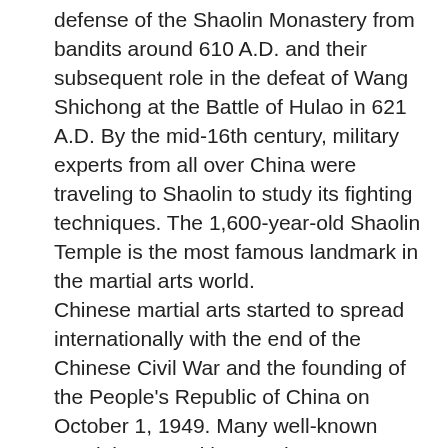defense of the Shaolin Monastery from bandits around 610 A.D. and their subsequent role in the defeat of Wang Shichong at the Battle of Hulao in 621 A.D. By the mid-16th century, military experts from all over China were traveling to Shaolin to study its fighting techniques. The 1,600-year-old Shaolin Temple is the most famous landmark in the martial arts world. Chinese martial arts started to spread internationally with the end of the Chinese Civil War and the founding of the People's Republic of China on October 1, 1949. Many well-known martial art practitioners chose to escape from the PRC's rule and migrate to Taiwan, Hong Kong and other parts of the world. Those masters started to teach in the overseas Chinese communities, but eventually, they expanded their teachings to include people from other cultures. Some famous practitioners of Chinese martial arts include Jackie Chan, Jet Li, and the late Bruce Lee. The term kung fu does not refer to a particular style of martial arts; it commonly refers to Chinese martial arts in general. The term became popular in the late 1960s